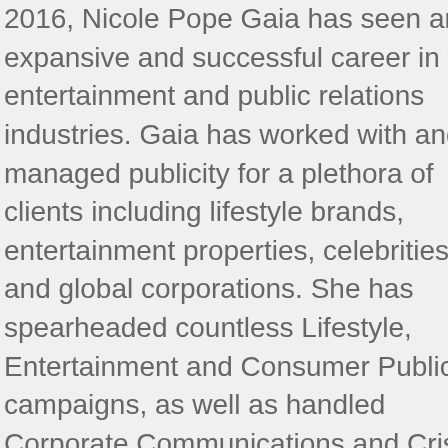2016, Nicole Pope Gaia has seen an expansive and successful career in the entertainment and public relations industries. Gaia has worked with and managed publicity for a plethora of clients including lifestyle brands, entertainment properties, celebrities and global corporations. She has spearheaded countless Lifestyle, Entertainment and Consumer Publicity campaigns, as well as handled Corporate Communications and Crisis Management for such clients as Nissan North America, Microsoft and Mars